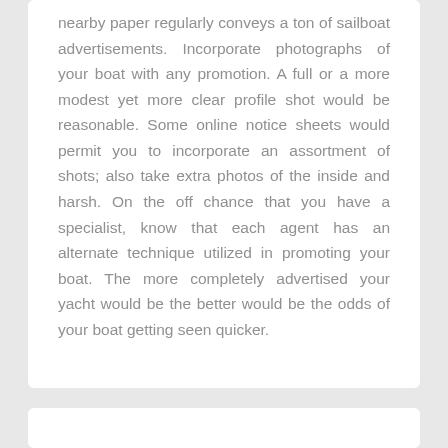nearby paper regularly conveys a ton of sailboat advertisements. Incorporate photographs of your boat with any promotion. A full or a more modest yet more clear profile shot would be reasonable. Some online notice sheets would permit you to incorporate an assortment of shots; also take extra photos of the inside and harsh. On the off chance that you have a specialist, know that each agent has an alternate technique utilized in promoting your boat. The more completely advertised your yacht would be the better would be the odds of your boat getting seen quicker.